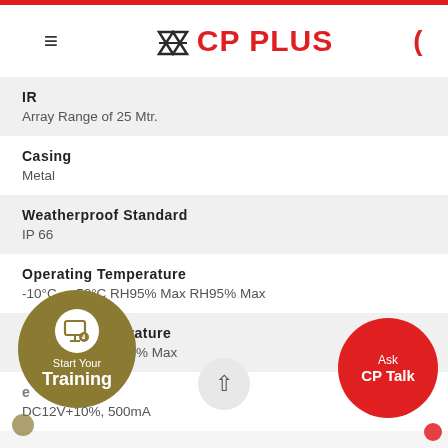CP PLUS
IR
Array Range of 25 Mtr.
Casing
Metal
Weatherproof Standard
IP 66
Operating Temperature
-10°C~ +50°C RH95% Max RH95% Max
Storage Temperature
RH95% Max RH95% Max
Power Supply
DC12V+10%, 500mA